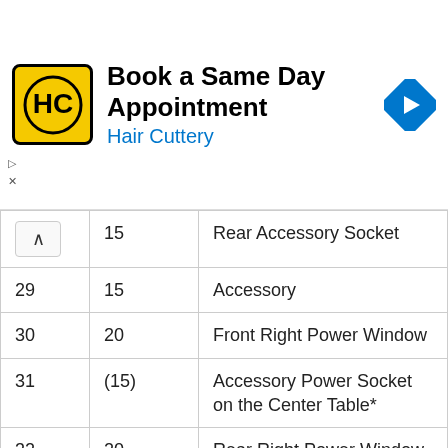[Figure (screenshot): Hair Cuttery advertisement banner: 'Book a Same Day Appointment' with yellow HC logo and blue navigation arrow icon]
|  | 15 | Rear Accessory Socket |
| 29 | 15 | Accessory |
| 30 | 20 | Front Right Power Window |
| 31 | (15) | Accessory Power Socket on the Center Table* |
| 32 | 20 | Rear Right Power Window |
| 33 | 20 | Rear Left power window |